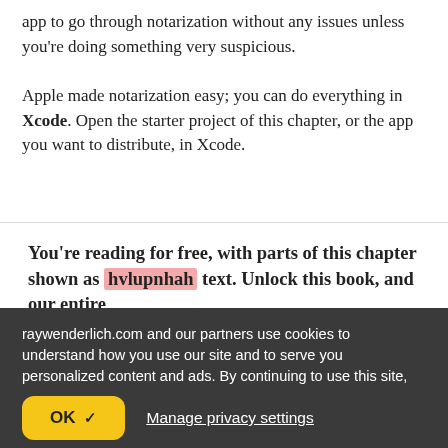app to go through notarization without any issues unless you're doing something very suspicious.
Apple made notarization easy; you can do everything in Xcode. Open the starter project of this chapter, or the app you want to distribute, in Xcode.
You're reading for free, with parts of this chapter shown as hvlupnhah text. Unlock this book, and our entire
raywenderlich.com and our partners use cookies to understand how you use our site and to serve you personalized content and ads. By continuing to use this site, you accept these cookies, our privacy policy and terms of service .
OK ✓   Manage privacy settings